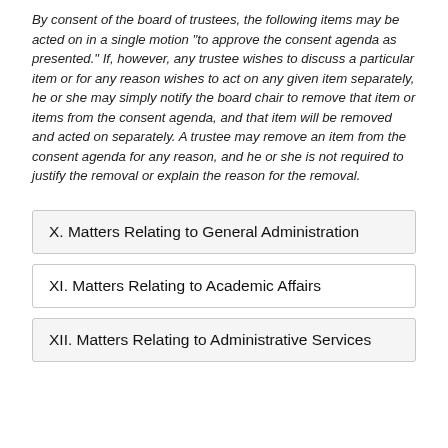By consent of the board of trustees, the following items may be acted on in a single motion "to approve the consent agenda as presented."  If, however, any trustee wishes to discuss a particular item or for any reason wishes to act on any given item separately, he or she may simply notify the board chair to remove that item or items from the consent agenda, and that item will be removed and acted on separately.  A trustee may remove an item from the consent agenda for any reason, and he or she is not required to justify the removal or explain the reason for the removal.
X. Matters Relating to General Administration
XI. Matters Relating to Academic Affairs
XII. Matters Relating to Administrative Services